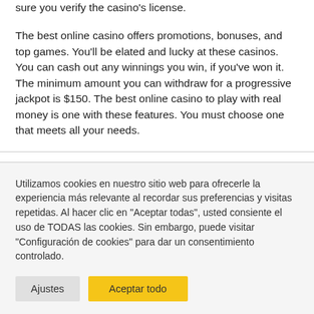sure you verify the casino's license.
The best online casino offers promotions, bonuses, and top games. You'll be elated and lucky at these casinos. You can cash out any winnings you win, if you've won it. The minimum amount you can withdraw for a progressive jackpot is $150. The best online casino to play with real money is one with these features. You must choose one that meets all your needs.
Utilizamos cookies en nuestro sitio web para ofrecerle la experiencia más relevante al recordar sus preferencias y visitas repetidas. Al hacer clic en "Aceptar todas", usted consiente el uso de TODAS las cookies. Sin embargo, puede visitar "Configuración de cookies" para dar un consentimiento controlado.
Ajustes
Aceptar todo